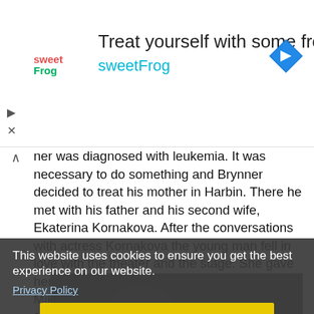[Figure (infographic): SweetFrog frozen yogurt advertisement banner with logo, tagline 'Treat yourself with some froyo', subtitle 'sweetFrog', and a blue navigation arrow icon on the right.]
ner was diagnosed with leukemia. It was necessary to do something and Brynner decided to treat his mother in Harbin. There he met with his father and his second wife, Ekaterina Kornakova. After the conversations with actress Kornakova the young man fell in love with the theater and the stage. She gave her stepson a letter of recommendation to Mikhail Chekhov, who then lived in America. In 1941, Yul began to study acting under his leadership. In parallel, he worked as a loader, chauffeur, announcer on the Voice of America radio.
This website uses cookies to ensure you get the best experience on our website.
Privacy Policy
Got it!
[Figure (photo): Grayscale photograph partially visible at the bottom of the page, showing a person, partially obscured by the cookie consent overlay.]